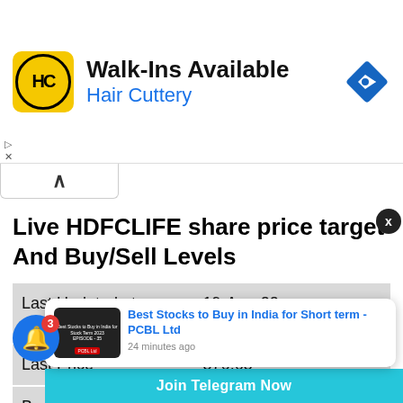[Figure (screenshot): Advertisement banner for Hair Cuttery with logo, text 'Walk-Ins Available', 'Hair Cuttery', and a blue direction sign icon]
Live HDFCLIFE share price target And Buy/Sell Levels
| Last Updated at | 19-Aug-22
15:30:00 |
| Last Price | 576.65 |
| Buy above |  |
| t Below |  |
[Figure (screenshot): Notification popup: 'Best Stocks to Buy in India for Short term - PCBL Ltd' with thumbnail, 24 minutes ago, and Join Telegram Now bar]